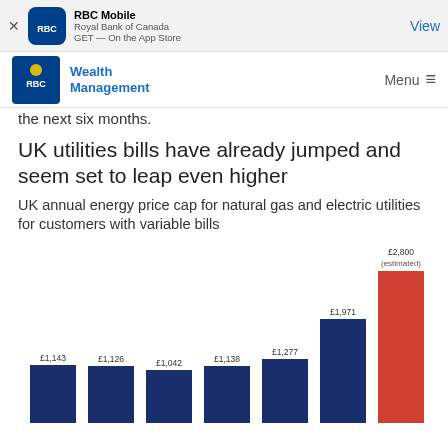RBC Mobile — Royal Bank of Canada — GET — On the App Store — View
RBC Wealth Management — Menu
the next six months.
UK utilities bills have already jumped and seem set to leap even higher
UK annual energy price cap for natural gas and electric utilities for customers with variable bills
[Figure (bar-chart): UK annual energy price cap for natural gas and electric utilities for customers with variable bills]